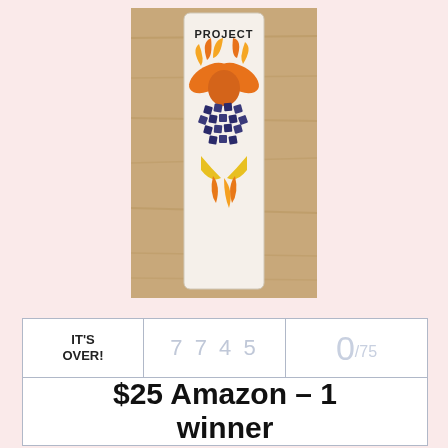[Figure (photo): A vertical bookmark with the word PROJECT at the top and artwork featuring a phoenix/eagle and decorative fruit or gem-like pattern below, placed on a wooden surface.]
| IT'S OVER! | 7 7 4 5 | 0/75 |
| $25 Amazon – 1 winner |  |  |